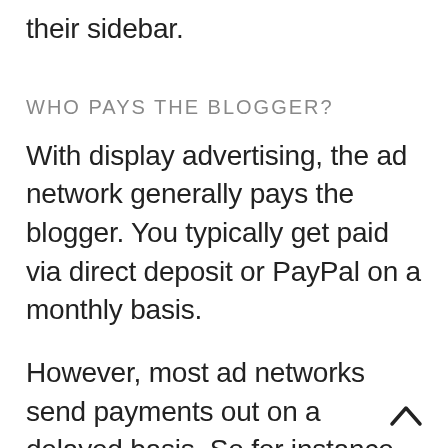their sidebar.
WHO PAYS THE BLOGGER?
With display advertising, the ad network generally pays the blogger. You typically get paid via direct deposit or PayPal on a monthly basis.
However, most ad networks send payments out on a delayed basis. So for instance, you might not get paid for what your blog earned from ads in August until the